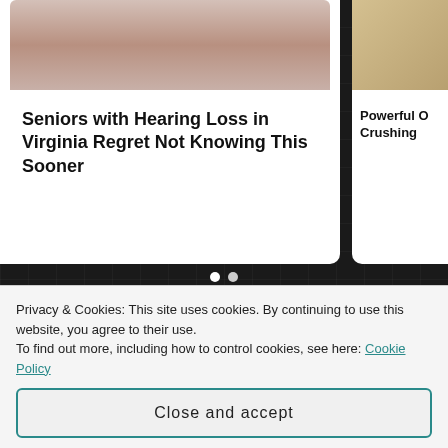Seniors with Hearing Loss in Virginia Regret Not Knowing This Sooner
Powerful O Crushing
[Figure (illustration): Quaker Oats man mascot wearing colonial hat and white wig]
Almost Nobody Has Passed This Classic Logo Quiz
WarpedSpeed
Privacy & Cookies: This site uses cookies. By continuing to use this website, you agree to their use. To find out more, including how to control cookies, see here: Cookie Policy
Close and accept